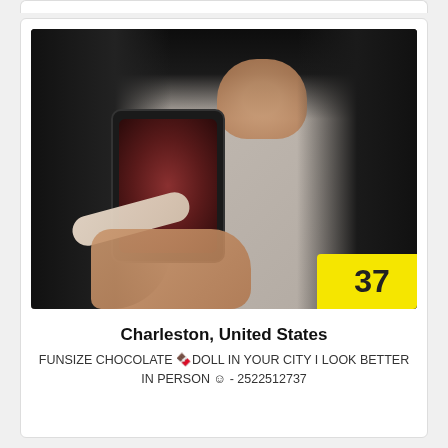[Figure (photo): Mirror selfie of a woman with long dark hair holding up a phone with long light-colored nails, wearing a dark outfit. A yellow badge with partial text '...37' is visible in the bottom right corner of the photo.]
Charleston, United States
FUNSIZE CHOCOLATE 🍫DOLL IN YOUR CITY I LOOK BETTER IN PERSON ☺ - 2522512737